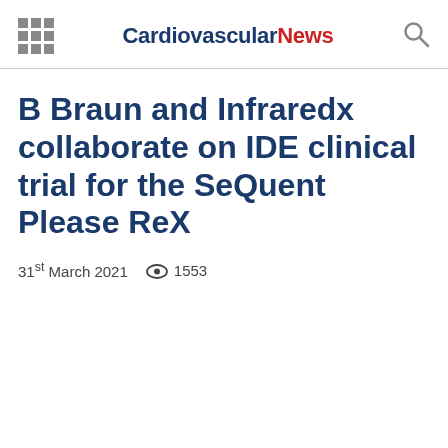Cardiovascular News
B Braun and Infraredx collaborate on IDE clinical trial for the SeQuent Please ReX
31st March 2021   1553